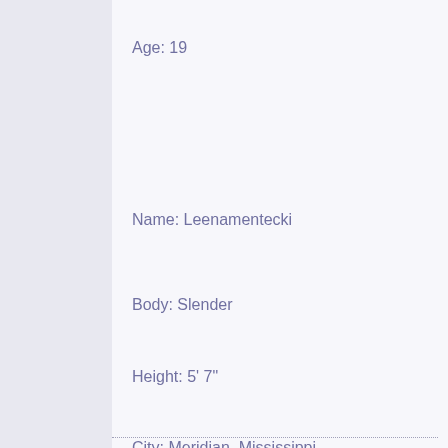Age: 19
Name: Leenamentecki
Body: Slender
Height: 5' 7"
City: Meridian, Mississippi